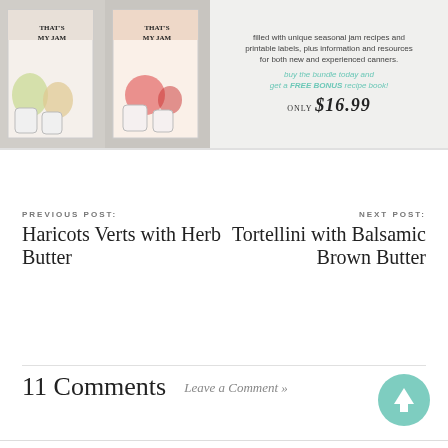[Figure (illustration): Advertisement banner for 'That's My Jam' cookbook bundle showing two book covers with jam jars and fruit imagery, text describing seasonal jam recipes with printable labels, call to action to buy the bundle and get a FREE BONUS recipe book, price ONLY $16.99]
PREVIOUS POST:
Haricots Verts with Herb Butter
NEXT POST:
Tortellini with Balsamic Brown Butter
11 Comments
Leave a Comment »